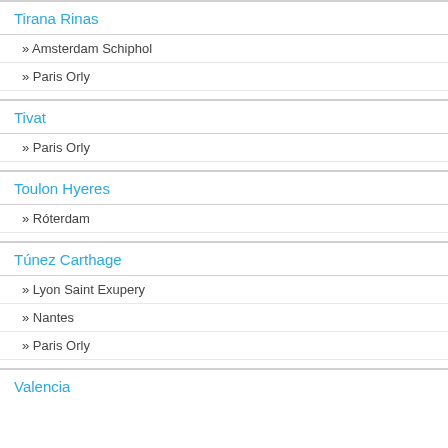Tirana Rinas
» Amsterdam Schiphol
» Paris Orly
Tivat
» Paris Orly
Toulon Hyeres
» Róterdam
Túnez Carthage
» Lyon Saint Exupery
» Nantes
» Paris Orly
Valencia